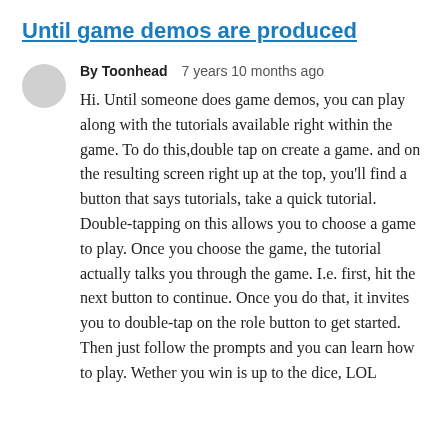Until game demos are produced
By Toonhead   7 years 10 months ago
Hi. Until someone does game demos, you can play along with the tutorials available right within the game. To do this,double tap on create a game. and on the resulting screen right up at the top, you'll find a button that says tutorials, take a quick tutorial. Double-tapping on this allows you to choose a game to play. Once you choose the game, the tutorial actually talks you through the game. I.e. first, hit the next button to continue. Once you do that, it invites you to double-tap on the role button to get started. Then just follow the prompts and you can learn how to play. Wether you win is up to the dice, LOL